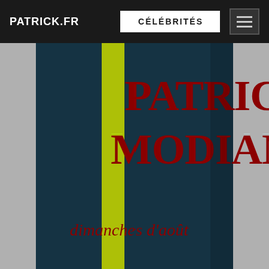PATRICK.FR | CÉLÉBRITÉS
[Figure (photo): Book cover of 'dimanches d'août' by Patrick Modiano. Dark navy blue background with a vertical yellow stripe on the left side. Author name 'PATRICK MODIANO' in large bold red serif text at the top. Title 'dimanches d'août' in red italic text at the bottom.]